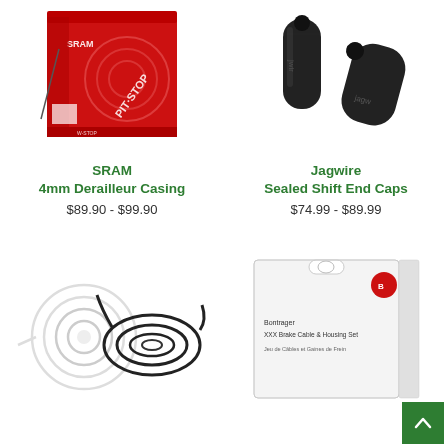[Figure (photo): SRAM Pit Stop branded red box containing 4mm Derailleur Casing]
SRAM
4mm Derailleur Casing
$89.90 - $99.90
[Figure (photo): Jagwire Sealed Shift End Caps - two black cylindrical caps]
Jagwire
Sealed Shift End Caps
$74.99 - $89.99
[Figure (photo): Bicycle brake/shift cables coiled - one white and one black coil]
[Figure (photo): Bontrager XXX Brake Cable & Housing Set in white retail box]